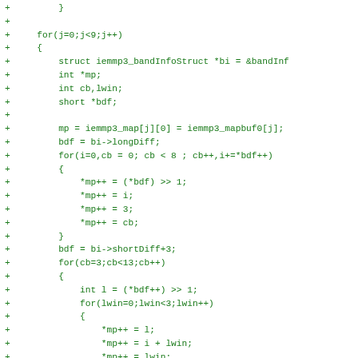Code diff showing C source additions with + markers, including for loops, struct usage, and pointer arithmetic in iemmp3 audio processing code.